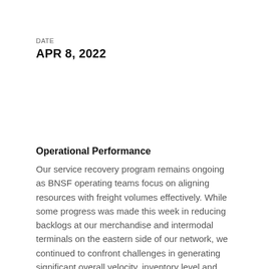DATE
APR 8, 2022
Operational Performance
Our service recovery program remains ongoing as BNSF operating teams focus on aligning resources with freight volumes effectively. While some progress was made this week in reducing backlogs at our merchandise and intermodal terminals on the eastern side of our network, we continued to confront challenges in generating significant overall velocity, inventory level and fluidity improvement.